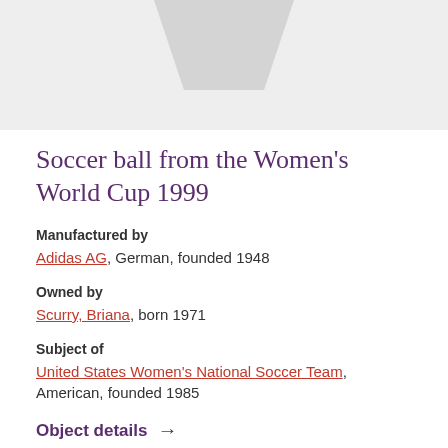[Figure (illustration): Top portion of a soccer ball shown against a light gray background, with a trapezoidal gray shape visible at the top center.]
Soccer ball from the Women's World Cup 1999
Manufactured by
Adidas AG, German, founded 1948
Owned by
Scurry, Briana, born 1971
Subject of
United States Women's National Soccer Team, American, founded 1985
Object details →